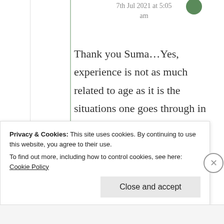7th Jul 2021 at 5:05 am
Thank you Suma…Yes, experience is not as much related to age as it is the situations one goes through in life. And yes, I empathize with your writings that's why the response is natural. God
Privacy & Cookies: This site uses cookies. By continuing to use this website, you agree to their use.
To find out more, including how to control cookies, see here: Cookie Policy
Close and accept